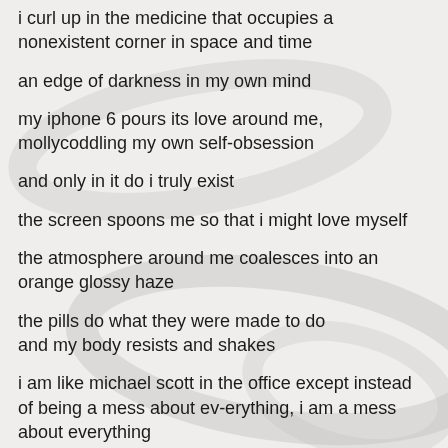i curl up in the medicine that occupies a nonexistent corner in space and time
an edge of darkness in my own mind
my iphone 6 pours its love around me, mollycoddling my own self-obsession
and only in it do i truly exist
the screen spoons me so that i might love myself
the atmosphere around me coalesces into an orange glossy haze
the pills do what they were made to do
and my body resists and shakes
i am like michael scott in the office except instead of being a mess about ev-erything, i am a mess about everything